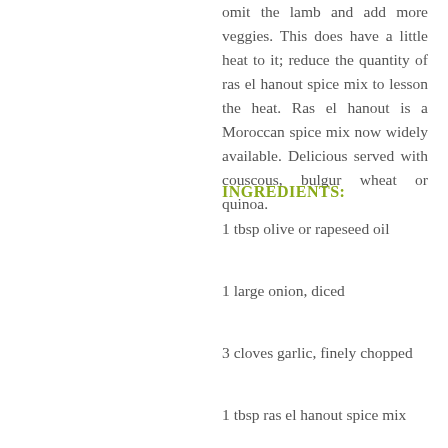omit the lamb and add more veggies. This does have a little heat to it; reduce the quantity of ras el hanout spice mix to lesson the heat. Ras el hanout is a Moroccan spice mix now widely available. Delicious served with couscous, bulgur wheat or quinoa.
INGREDIENTS:
1 tbsp olive or rapeseed oil
1 large onion, diced
3 cloves garlic, finely chopped
1 tbsp ras el hanout spice mix